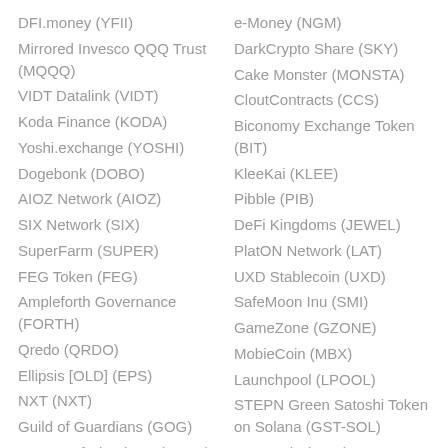DFI.money (YFII)
Mirrored Invesco QQQ Trust (MQQQ)
VIDT Datalink (VIDT)
Koda Finance (KODA)
Yoshi.exchange (YOSHI)
Dogebonk (DOBO)
AIOZ Network (AIOZ)
SIX Network (SIX)
SuperFarm (SUPER)
FEG Token (FEG)
Ampleforth Governance (FORTH)
Qredo (QRDO)
Ellipsis [OLD] (EPS)
NXT (NXT)
Guild of Guardians (GOG)
League of Kingdoms (LOKA)
e-Money (NGM)
DarkCrypto Share (SKY)
Cake Monster (MONSTA)
CloutContracts (CCS)
Biconomy Exchange Token (BIT)
KleeKai (KLEE)
Pibble (PIB)
DeFi Kingdoms (JEWEL)
PlatON Network (LAT)
UXD Stablecoin (UXD)
SafeMoon Inu (SMI)
GameZone (GZONE)
MobieCoin (MBX)
Launchpool (LPOOL)
STEPN Green Satoshi Token on Solana (GST-SOL)
Dentacoin (DCN)